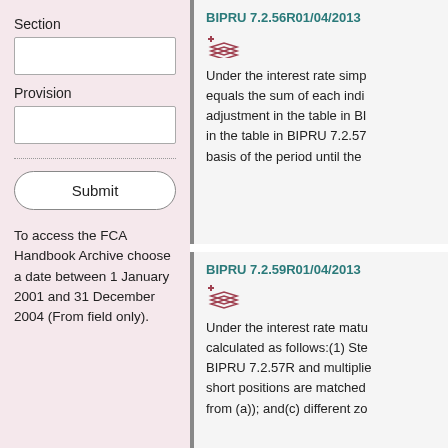Section
Provision
Submit
To access the FCA Handbook Archive choose a date between 1 January 2001 and 31 December 2004 (From field only).
BIPRU 7.2.56R01/04/2013
Under the interest rate simp equals the sum of each indi adjustment in the table in BI in the table in BIPRU 7.2.57 basis of the period until the
BIPRU 7.2.59R01/04/2013
Under the interest rate matu calculated as follows:(1) Ste BIPRU 7.2.57R and multiplie short positions are matched from (a)); and(c) different zo